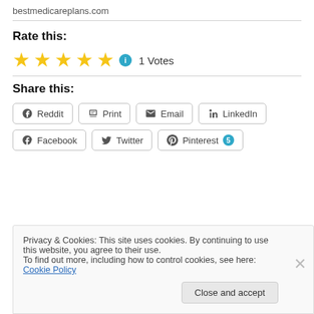bestmedicareplans.com
Rate this:
[Figure (other): Five gold stars rating with info icon and '1 Votes' text]
Share this:
Reddit  Print  Email  LinkedIn  Facebook  Twitter  Pinterest 5
Privacy & Cookies: This site uses cookies. By continuing to use this website, you agree to their use.
To find out more, including how to control cookies, see here: Cookie Policy